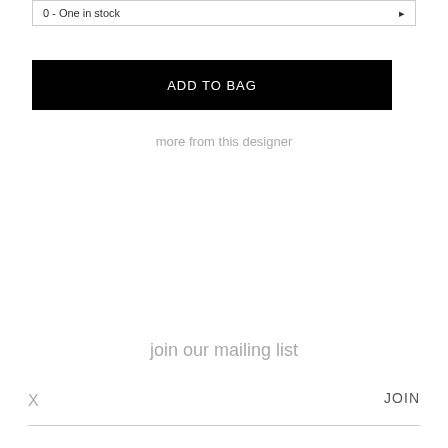0 - One in stock
ADD TO BAG
more from this designer
join our mailing list
X
JOIN